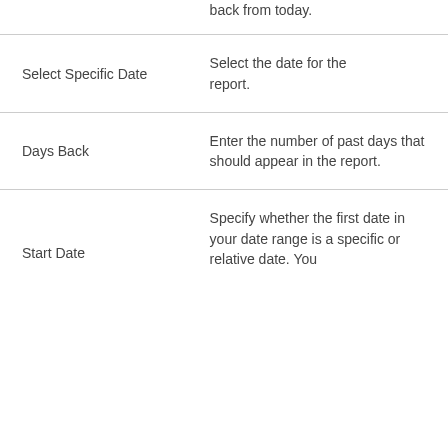back from today.
Select Specific Date
Select the date for the report.
Days Back
Enter the number of past days that should appear in the report.
Start Date
Specify whether the first date in your date range is a specific or relative date. You